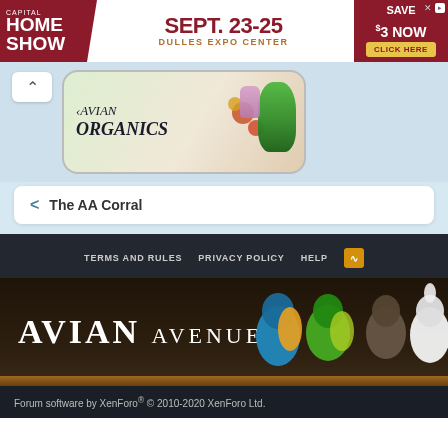[Figure (infographic): Capital Home Show advertisement banner: SEPT. 23-25, DULLES EXPO CENTER, SAVE $3 NOW, CLICK HERE]
[Figure (photo): Avian Organics advertisement with parrot and organic food products]
< The AA Corral
TERMS AND RULES  PRIVACY POLICY  HELP
[Figure (logo): Avian Avenue forum logo with parrots on a branch]
Forum software by XenForo® © 2010-2020 XenForo Ltd.